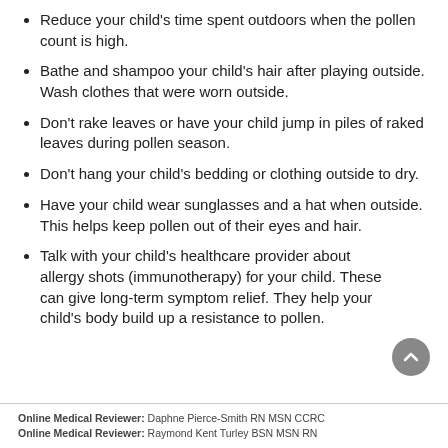Reduce your child's time spent outdoors when the pollen count is high.
Bathe and shampoo your child's hair after playing outside. Wash clothes that were worn outside.
Don't rake leaves or have your child jump in piles of raked leaves during pollen season.
Don't hang your child's bedding or clothing outside to dry.
Have your child wear sunglasses and a hat when outside. This helps keep pollen out of their eyes and hair.
Talk with your child's healthcare provider about allergy shots (immunotherapy) for your child. These can give long-term symptom relief. They help your child's body build up a resistance to pollen.
Online Medical Reviewer: Daphne Pierce-Smith RN MSN CCRC
Online Medical Reviewer: Raymond Kent Turley BSN MSN RN